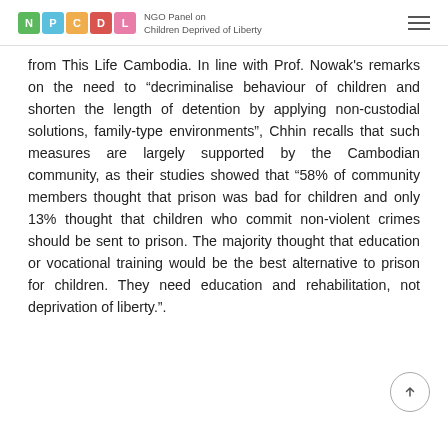NGO Panel on Children Deprived of Liberty
from This Life Cambodia. In line with Prof. Nowak's remarks on the need to “decriminalise behaviour of children and shorten the length of detention by applying non-custodial solutions, family-type environments”, Chhin recalls that such measures are largely supported by the Cambodian community, as their studies showed that “58% of community members thought that prison was bad for children and only 13% thought that children who commit non-violent crimes should be sent to prison. The majority thought that education or vocational training would be the best alternative to prison for children. They need education and rehabilitation, not deprivation of liberty.”.